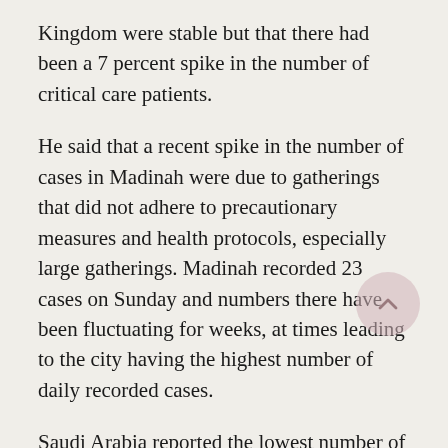Kingdom were stable but that there had been a 7 percent spike in the number of critical care patients.
He said that a recent spike in the number of cases in Madinah were due to gatherings that did not adhere to precautionary measures and health protocols, especially large gatherings. Madinah recorded 23 cases on Sunday and numbers there have been fluctuating for weeks, at times leading to the city having the highest number of daily recorded cases.
Saudi Arabia reported the lowest number of new COVID-19 infections since April on Sunday with 305 cases recorded.
With Sunday's confirmed cases, the total number of infected people in the Kingdom reached 353,255. Of the